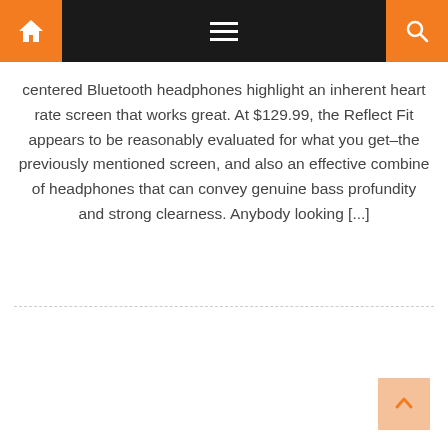Navigation bar with home, menu, and search icons
centered Bluetooth headphones highlight an inherent heart rate screen that works great. At $129.99, the Reflect Fit appears to be reasonably evaluated for what you get–the previously mentioned screen, and also an effective combine of headphones that can convey genuine bass profundity and strong clearness. Anybody looking [...]